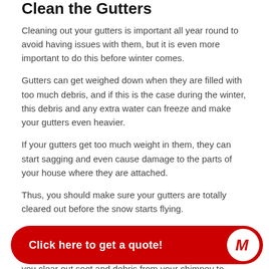Clean the Gutters
Cleaning out your gutters is important all year round to avoid having issues with them, but it is even more important to do this before winter comes.
Gutters can get weighed down when they are filled with too much debris, and if this is the case during the winter, this debris and any extra water can freeze and make your gutters even heavier.
If your gutters get too much weight in them, they can start sagging and even cause damage to the parts of your house where they are attached.
Thus, you should make sure your gutters are totally cleared out before the snow starts flying.
Chimney
If you plan to use your fireplace this winter, it is vital that you clear out soot and debris from your chimney to prevent a chimney fire from happening. You should hire a professional to do this or attempt it yourself.
[Figure (other): Red CTA button bar at bottom of page reading 'Click here to get a quote!' with a circular white icon containing a red stylized M logo on the right side.]